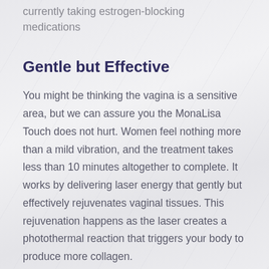currently taking estrogen-blocking medications
Gentle but Effective
You might be thinking the vagina is a sensitive area, but we can assure you the MonaLisa Touch does not hurt. Women feel nothing more than a mild vibration, and the treatment takes less than 10 minutes altogether to complete. It works by delivering laser energy that gently but effectively rejuvenates vaginal tissues. This rejuvenation happens as the laser creates a photothermal reaction that triggers your body to produce more collagen.